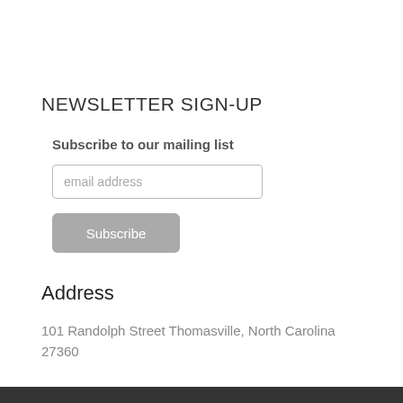NEWSLETTER SIGN-UP
Subscribe to our mailing list
email address
Subscribe
Address
101 Randolph Street Thomasville, North Carolina 27360